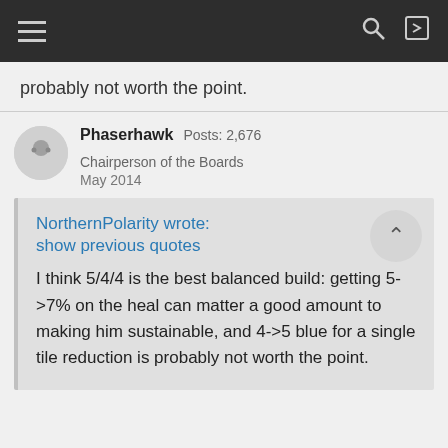Navigation bar with hamburger menu, search, and login icons
probably not worth the point.
Phaserhawk  Posts: 2,676  Chairperson of the Boards
May 2014
NorthernPolarity wrote:
show previous quotes

I think 5/4/4 is the best balanced build: getting 5->7% on the heal can matter a good amount to making him sustainable, and 4->5 blue for a single tile reduction is probably not worth the point.